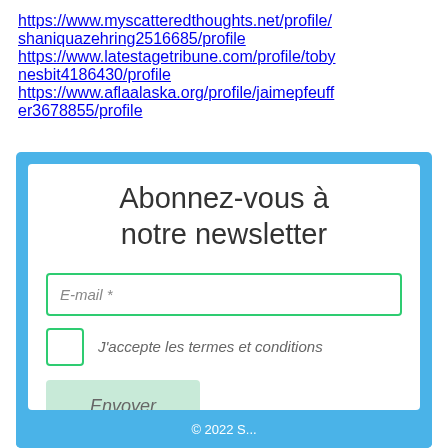https://www.myscatteredthoughts.net/profile/shaniquazehring2516685/profile https://www.latestagetribune.com/profile/tobynesbit4186430/profile https://www.aflaalaska.org/profile/jaimepfeufer3678855/profile
Abonnez-vous à notre newsletter
[Figure (screenshot): Newsletter subscription form with E-mail input field, a checkbox for J'accepte les termes et conditions, and an Envoyer (submit) button, all inside a white card on a blue background.]
© 2022 S...